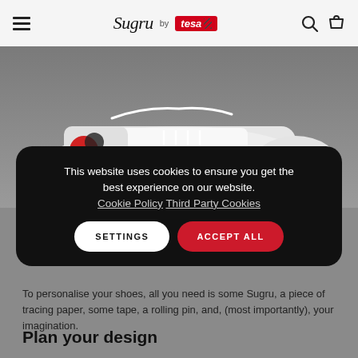Sugru by tesa
[Figure (photo): Close-up photo of a white canvas shoe with decorative red and black design/artwork on the side, against a grey background]
This website uses cookies to ensure you get the best experience on our website. Cookie Policy  Third Party Cookies
To personalise your shoes, all you need is some Sugru, a piece of tracing paper, some tape, a rolling pin, and, (most importantly), your imagination.
Plan your design